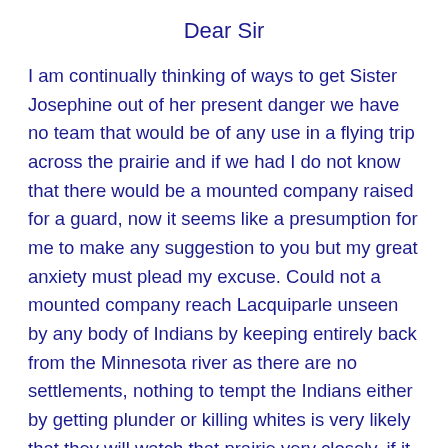Dear Sir
I am continually thinking of ways to get Sister Josephine out of her present danger we have no team that would be of any use in a flying trip across the prairie and if we had I do not know that there would be a mounted company raised for a guard, now it seems like a presumption for me to make any suggestion to you but my great anxiety must plead my excuse. Could not a mounted company reach Lacquiparle unseen by any body of Indians by keeping entirely back from the Minnesota river as there are no settlements, nothing to tempt the Indians either by getting plunder or killing whites is very likely that they will watch that prairie very closely, if it were possible to send and get her away we would be very thankful. I cannot give up the Idea of having her rescued but we seem to be so